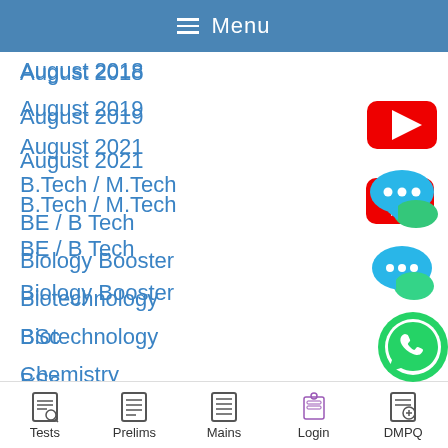≡ Menu
August 2018
August 2019
August 2021
B.Tech / M.Tech
BE / B Tech
Biology Booster
Biotechnology
BSc
Chemistry
Computer Booster
Constitutional Framework of Indian Polity
Tests  Prelims  Mains  Login  DMPQ